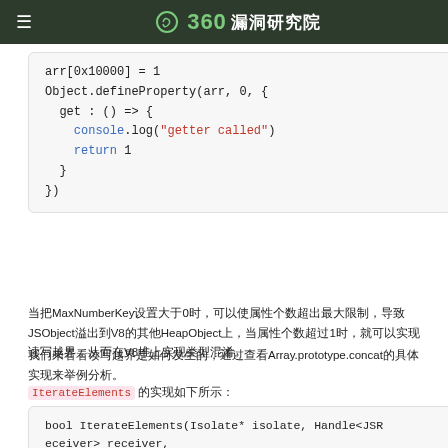≡ 360漏洞研究院
[Figure (screenshot): Code block showing: arr[0x10000] = 1
Object.defineProperty(arr, 0, {
  get : () => {
    console.log("getter called")
    return 1
  }
})]
当把MaxNumberKey设置大于0时，可以使属性个数超出最大限制，导致JSObject溢出到V8的其他HeapObject上，当属性个数超过1时，就可以实现读写越界，从而在V8堆上实现类型混淆。
我们来看看读写越界是如何发生的，通过查看Array.prototype.concat的具体实现来举例分析。
IterateElements 的实现如下所示：
[Figure (screenshot): Code block showing: bool IterateElements(Isolate* isolate, Handle<JSReceiver> receiver,
                                   ArrayConcatVisitor* visitor)
{
  /* skip */
  if (!visitor->has_simple_elements() ||]